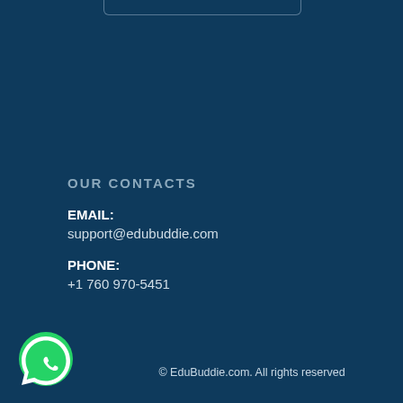OUR CONTACTS
EMAIL:
support@edubuddie.com
PHONE:
+1 760 970-5451
© EduBuddie.com. All rights reserved